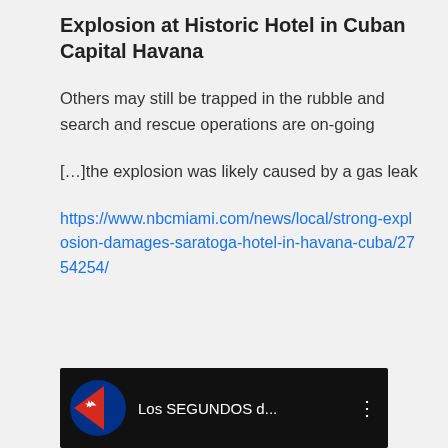Explosion at Historic Hotel in Cuban Capital Havana
Others may still be trapped in the rubble and search and rescue operations are on-going
[…]the explosion was likely caused by a gas leak
https://www.nbcmiami.com/news/local/strong-explosion-damages-saratoga-hotel-in-havana-cuba/2754254/
[Figure (screenshot): Video thumbnail showing Cuban flag icon and text 'Los SEGUNDOS d...' with a three-dot menu icon on a black background]